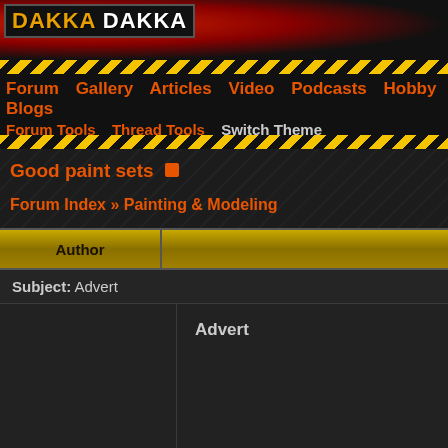DAKKA DAKKA
Forum  Gallery  Articles  Video  Podcasts  Hobby Blogs
Forum Tools  Thread Tools  Switch Theme
Good paint sets
Forum Index » Painting & Modeling
| Author |  |
| --- | --- |
| Subject: Advert |  |
| Advert | Forum adverts like this one are shown to a 3 field form and you will get your own, free benefits to you: |